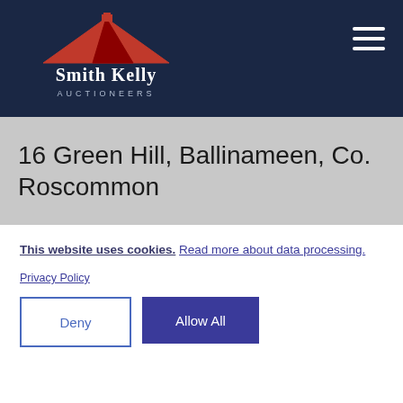[Figure (logo): Smith Kelly Auctioneers logo with red roof shape above the company name in white text on navy background]
16 Green Hill, Ballinameen, Co. Roscommon
This website uses cookies. Read more about data processing.
Privacy Policy
Deny
Allow All